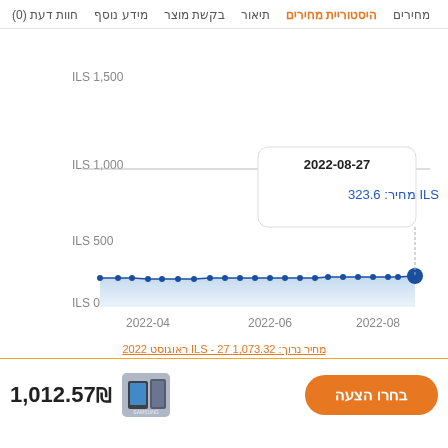מחירים  היסטוריית מחירים  תיאור  בקשת מוצר  מידע נוסף  חוות דעת (0)
[Figure (area-chart): Area chart showing price in ILS from April 2022 to August 2022, mostly flat around 300 ILS with a tooltip showing 2022-08-27 price of 323.6 ILS]
מחיר נרוך: 1,073.32 ILS - 27 ראוגוסט 2022
1,012.57₪